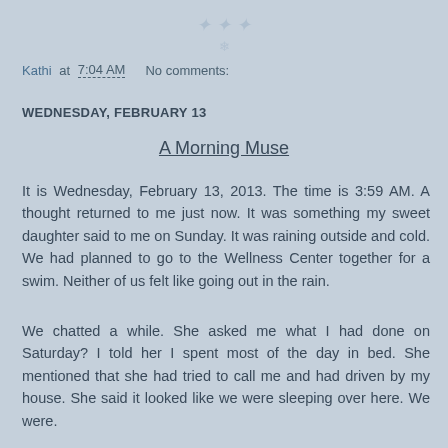[Figure (illustration): Faint decorative watermark/logo at top center of page, light blue on blue-gray background]
Kathi at 7:04 AM    No comments:
WEDNESDAY, FEBRUARY 13
A Morning Muse
It is Wednesday, February 13, 2013. The time is 3:59 AM. A thought returned to me just now. It was something my sweet daughter said to me on Sunday. It was raining outside and cold. We had planned to go to the Wellness Center together for a swim. Neither of us felt like going out in the rain.
We chatted a while. She asked me what I had done on Saturday? I told her I spent most of the day in bed. She mentioned that she had tried to call me and had driven by my house. She said it looked like we were sleeping over here. We were.